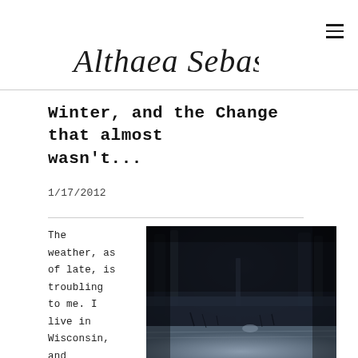Althaea Sebastiani
Winter, and the Change that almost wasn't...
1/17/2012
The weather, as of late, is troubling to me. I live in Wisconsin, and Winter is
[Figure (photo): Dark moody forest scene in winter with snow-covered ground, bare trees, and dark sky — an atmospheric photograph with low light and blueish-grey tones]